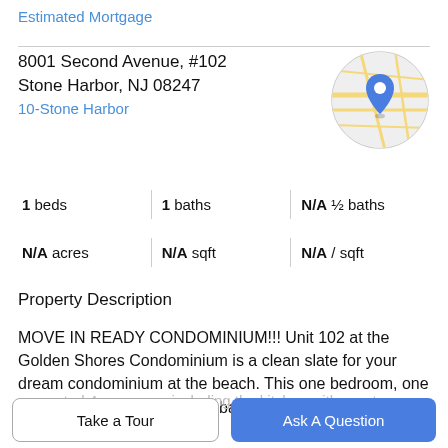Estimated Mortgage
8001 Second Avenue, #102
Stone Harbor, NJ 08247
10-Stone Harbor
[Figure (map): Circular map thumbnail showing a street map with a blue location pin marker]
1 beds | 1 baths | N/A ½ baths
N/A acres | N/A sqft | N/A / sqft
Property Description
MOVE IN READY CONDOMINIUM!!! Unit 102 at the Golden Shores Condominium is a clean slate for your dream condominium at the beach. This one bedroom, one bathroom unit with a private balcony has been beautifully
renovated 4 years ago including the kitchen with quartz
Take a Tour
Ask A Question